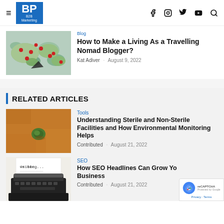BP B2B Marketing — navigation header with hamburger menu and social icons (Facebook, Instagram, Twitter, YouTube, Search)
[Figure (screenshot): Thumbnail image of a world map with red pins on it]
How to Make a Living As a Travelling Nomad Blogger?
Kat Adiver · August 9, 2022
RELATED ARTICLES
[Figure (photo): Aerial photo of a lone green tree in a brown/orange field]
Tools
Understanding Sterile and Non-Sterile Facilities and How Environmental Monitoring Helps
Contributed · August 21, 2022
[Figure (photo): Photo of a typewriter with paper showing 'writer's blog...']
SEO
How SEO Headlines Can Grow Your Business
Contributed · August 21, 2022